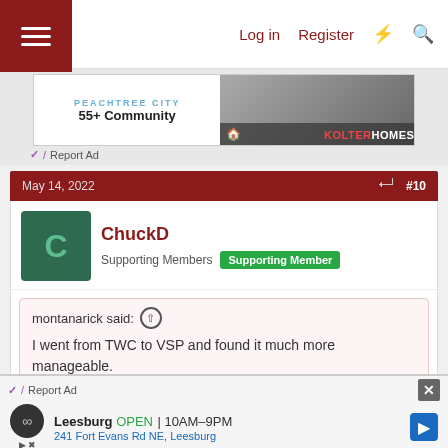Log in  Register
[Figure (screenshot): Advertisement banner for Peachtree City 55+ Community by Kolter Homes]
Report Ad
May 14, 2022  #10
ChuckD
Supporting Members  Supporting Member
montanarick said: ↑
I went from TWC to VSP and found it much more manageable.
Could you elaborate? Is it just easier to prune or does
Report Ad
[Figure (screenshot): Advertisement for Leesburg OPEN 10AM-9PM, 241 Fort Evans Rd NE, Leesburg with navigation icon]